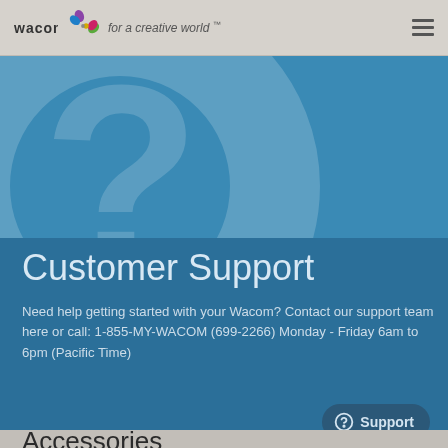wacom · for a creative world™
[Figure (illustration): Blue banner with large faint question mark circle graphic on teal/blue background]
Customer Support
Need help getting started with your Wacom? Contact our support team here or call: 1-855-MY-WACOM (699-2266) Monday - Friday 6am to 6pm (Pacific Time)
Support
Accessories